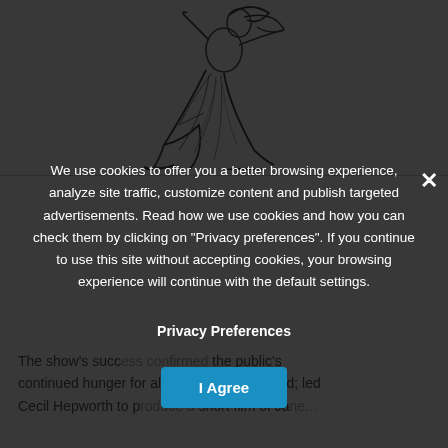[Figure (illustration): Black and white line drawing/illustration of a dancing figure in flowing dress/garments, dynamic pose with hair flowing, sketched in an energetic style.]
The show's success [partially obscured by overlay] the public's continued hunger for all things dance related; led Cecil Hepworth to p[roduce a] short film of Ja[ne...]
We use cookies to offer you a better browsing experience, analyze site traffic, customize content and publish targeted advertisements. Read how we use cookies and how you can check them by clicking on "Privacy preferences". If you continue to use this site without accepting cookies, your browsing experience will continue with the default settings.
Privacy Preferences
I Agree